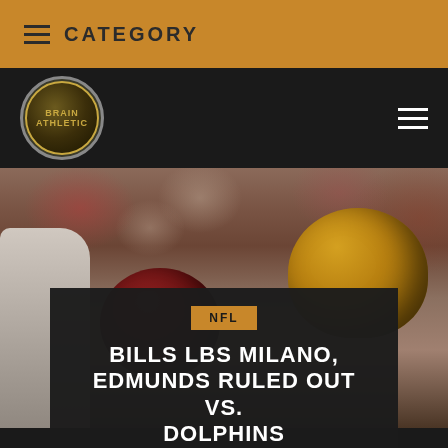CATEGORY
[Figure (logo): Brain Athletic sports blog logo - circular emblem with athlete figure]
[Figure (photo): American football players with helmets - maroon and yellow helmets visible with crowd in background]
NFL
BILLS LBS MILANO, EDMUNDS RULED OUT VS. DOLPHINS
BY INS_USER • SEPTEMBER 18, 2020